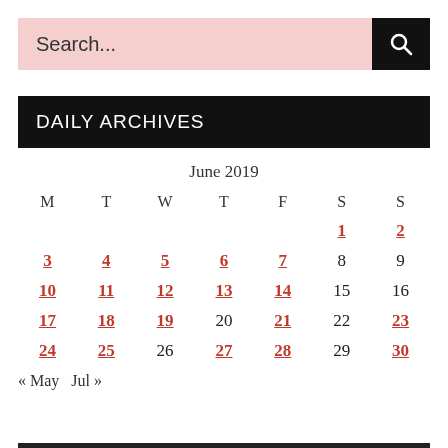Search...
DAILY ARCHIVES
| M | T | W | T | F | S | S |
| --- | --- | --- | --- | --- | --- | --- |
|  |  |  |  |  | 1 | 2 |
| 3 | 4 | 5 | 6 | 7 | 8 | 9 |
| 10 | 11 | 12 | 13 | 14 | 15 | 16 |
| 17 | 18 | 19 | 20 | 21 | 22 | 23 |
| 24 | 25 | 26 | 27 | 28 | 29 | 30 |
« May   Jul »